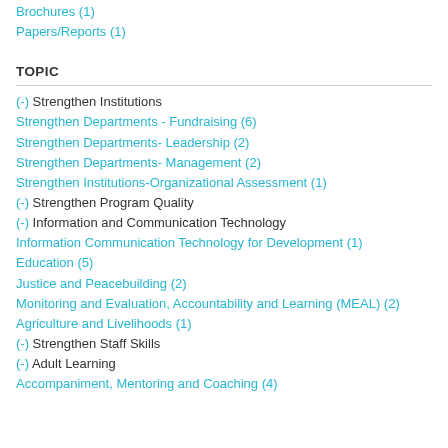Brochures (1)
Papers/Reports (1)
TOPIC
(-) Strengthen Institutions
Strengthen Departments - Fundraising (6)
Strengthen Departments- Leadership (2)
Strengthen Departments- Management (2)
Strengthen Institutions-Organizational Assessment (1)
(-) Strengthen Program Quality
(-) Information and Communication Technology
Information Communication Technology for Development (1)
Education (5)
Justice and Peacebuilding (2)
Monitoring and Evaluation, Accountability and Learning (MEAL) (2)
Agriculture and Livelihoods (1)
(-) Strengthen Staff Skills
(-) Adult Learning
Accompaniment, Mentoring and Coaching (4)